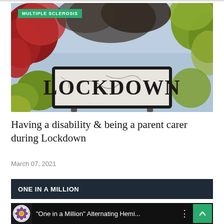[Figure (photo): A street sign reading 'LOCKDOWN' photographed outdoors, with autumn red and yellow-green foliage visible on either side. The sign has a black border frame. The scene is set against a cloudy sky.]
Having a disability & being a parent carer during Lockdown
March 07, 2021
ONE IN A MILLION
[Figure (screenshot): A dark-themed video player or media embed showing a circular logo (purple flower with yellow center on a light background) on the left, and the title text '"One in a Million" Alternating Hemi...' in white. A vertical three-dot menu icon and a green scroll-to-top button (upward chevron) are on the right.]